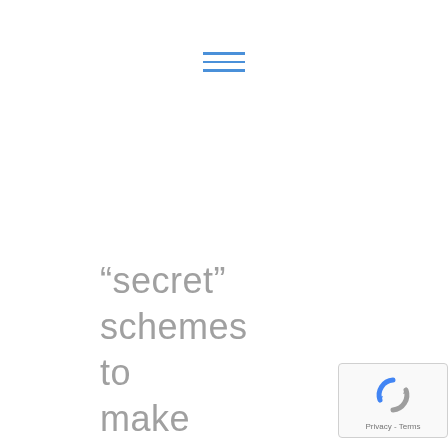[Figure (other): Hamburger menu icon with three horizontal blue lines]
“secret” schemes to make money off of you… You’re getting a mortgage
[Figure (other): Google reCAPTCHA badge in bottom-right corner with logo and Privacy - Terms text]